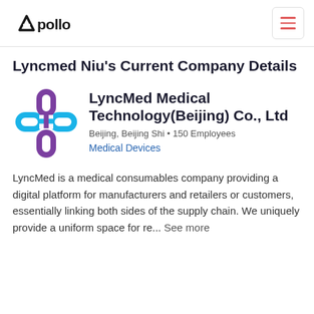Apollo (logo) | hamburger menu
Lyncmed Niu's Current Company Details
[Figure (logo): LyncMed Medical Technology logo: a blue and purple cross/chain link symbol]
LyncMed Medical Technology(Beijing) Co., Ltd
Beijing, Beijing Shi • 150 Employees
Medical Devices
LyncMed is a medical consumables company providing a digital platform for manufacturers and retailers or customers, essentially linking both sides of the supply chain. We uniquely provide a uniform space for re... See more